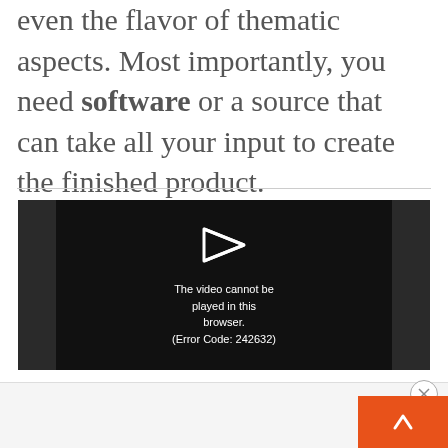even the flavor of thematic aspects. Most importantly, you need software or a source that can take all your input to create the finished product.
[Figure (screenshot): Video player showing error message: 'The video cannot be played in this browser. (Error Code: 242632)' with a play arrow icon on a dark background.]